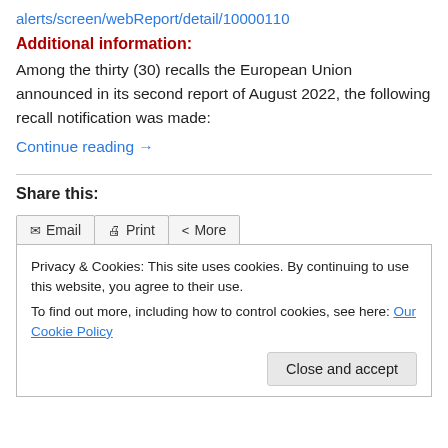alerts/screen/webReport/detail/10000110
Additional information:
Among the thirty (30) recalls the European Union announced in its second report of August 2022, the following recall notification was made:
Continue reading →
Share this:
Email | Print | More
Privacy & Cookies: This site uses cookies. By continuing to use this website, you agree to their use.
To find out more, including how to control cookies, see here: Our Cookie Policy